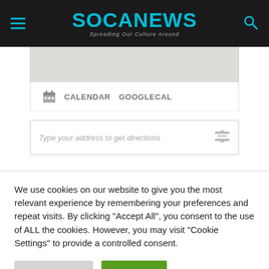SOCANEWS — Spreading Our Culture Around
[Figure (screenshot): Map placeholder area (light gray), calendar/GOOGLECAL links, and address input field for directions]
We use cookies on our website to give you the most relevant experience by remembering your preferences and repeat visits. By clicking "Accept All", you consent to the use of ALL the cookies. However, you may visit "Cookie Settings" to provide a controlled consent.
Cookie Settings | Accept All